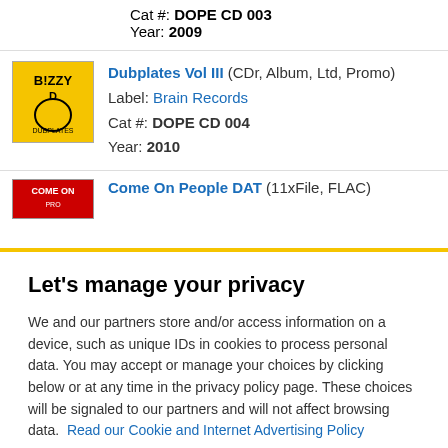Cat #: DOPE CD 003
Year: 2009
Dubplates Vol III (CDr, Album, Ltd, Promo)
Label: Brain Records
Cat #: DOPE CD 004
Year: 2010
Come On People DAT (11xFile, FLAC)
Let's manage your privacy
We and our partners store and/or access information on a device, such as unique IDs in cookies to process personal data. You may accept or manage your choices by clicking below or at any time in the privacy policy page. These choices will be signaled to our partners and will not affect browsing data. Read our Cookie and Internet Advertising Policy
Cookies Settings | Accept All Cookies